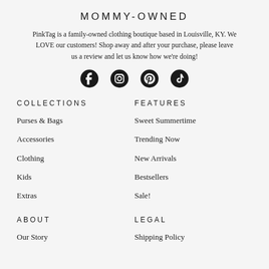MOMMY-OWNED
PinkTag is a family-owned clothing boutique based in Louisville, KY. We LOVE our customers! Shop away and after your purchase, please leave us a review and let us know how we're doing!
[Figure (infographic): Social media icons: Facebook, Instagram, Pinterest, TikTok]
COLLECTIONS
Purses & Bags
Accessories
Clothing
Kids
Extras
FEATURES
Sweet Summertime
Trending Now
New Arrivals
Bestsellers
Sale!
ABOUT
Our Story
LEGAL
Shipping Policy